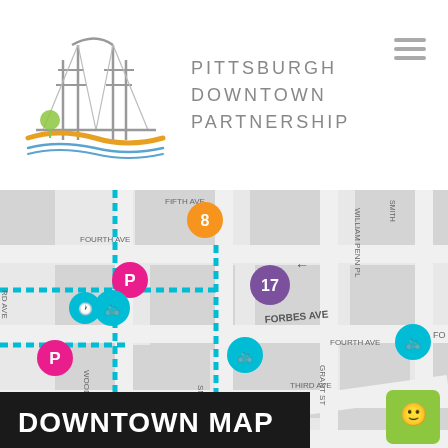[Figure (logo): Pittsburgh Downtown Partnership logo with bridge and river illustration in gray, gold, and blue, with organization name text]
[Figure (map): Downtown Pittsburgh street map showing bike lanes (blue dashed lines), parking markers (pink P circles), bike share stations (teal bicycle circles), numbered location markers (orange 8, purple 17), and street labels including Forbes Ave, Fourth Ave, Wood St, Smithfield St, Grant St, Blvd of the Allies, Third Ave, William Penn Pl]
DOWNTOWN MAP